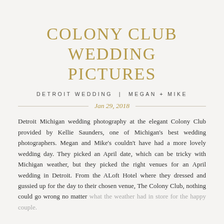COLONY CLUB WEDDING PICTURES
DETROIT WEDDING | MEGAN + MIKE
Jan 29, 2018
Detroit Michigan wedding photography at the elegant Colony Club provided by Kellie Saunders, one of Michigan's best wedding photographers. Megan and Mike's couldn't have had a more lovely wedding day. They picked an April date, which can be tricky with Michigan weather, but they picked the right venues for an April wedding in Detroit. From the ALoft Hotel where they dressed and gussied up for the day to their chosen venue, The Colony Club, nothing could go wrong no matter